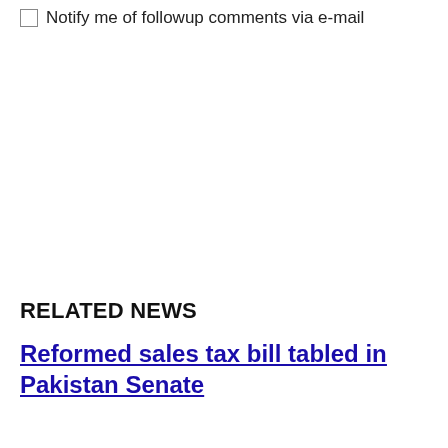Notify me of followup comments via e-mail
RELATED NEWS
Reformed sales tax bill tabled in Pakistan Senate